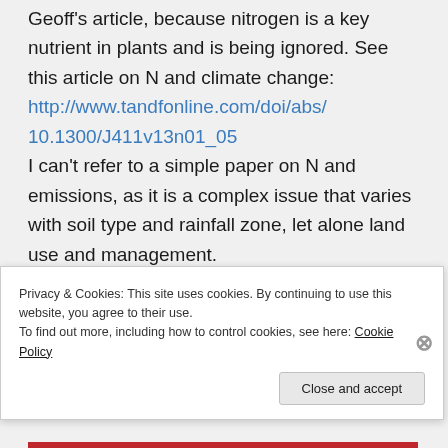Geoff's article, because nitrogen is a key nutrient in plants and is being ignored. See this article on N and climate change: http://www.tandfonline.com/doi/abs/10.1300/J411v13n01_05 I can't refer to a simple paper on N and emissions, as it is a complex issue that varies with soil type and rainfall zone, let alone land use and management.
Privacy & Cookies: This site uses cookies. By continuing to use this website, you agree to their use. To find out more, including how to control cookies, see here: Cookie Policy